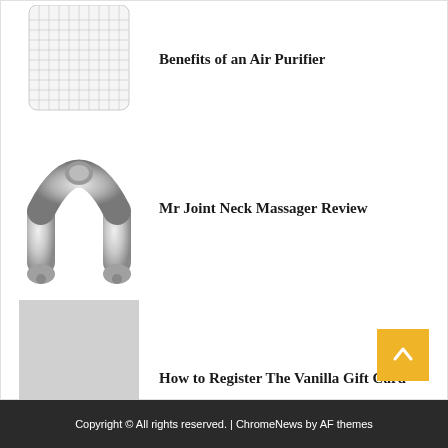[Figure (photo): Air purifier product thumbnail image (partially visible at top)]
Benefits of an Air Purifier
[Figure (photo): Mr Joint Neck Massager - silver U-shaped neck massager device]
Mr Joint Neck Massager Review
[Figure (photo): Grey placeholder image for Vanilla Gift Card article]
How to Register The Vanilla Gift Card
Copyright © All rights reserved. | ChromeNews by AF themes